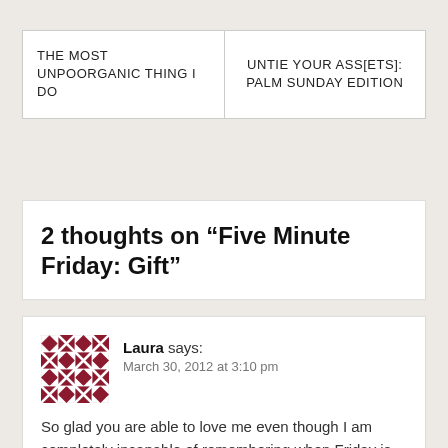| THE MOST UNPOORGANIC THING I DO | UNTIE YOUR ASS[ETS]: PALM SUNDAY EDITION |
2 thoughts on “Five Minute Friday: Gift”
[Figure (illustration): Gravatar avatar for user Laura — a dark red geometric/quilted pattern on white background]
Laura says:
March 30, 2012 at 3:10 pm
So glad you are able to love me even though I am completely incapable of remembering when Friday is